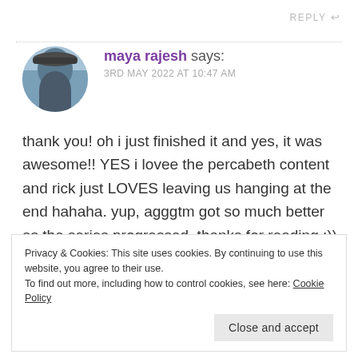REPLY ↩
[Figure (photo): Circular avatar photo of a person standing outdoors against a mountain/sky background, wearing a hat, viewed from behind/side]
maya rajesh says:
3RD MAY 2022 AT 10:47 AM
thank you! oh i just finished it and yes, it was awesome!! YES i lovee the percabeth content and rick just LOVES leaving us hanging at the end hahaha. yup, agggtm got so much better as the series progressed. thanks for reading :))
Privacy & Cookies: This site uses cookies. By continuing to use this website, you agree to their use.
To find out more, including how to control cookies, see here: Cookie Policy
Close and accept